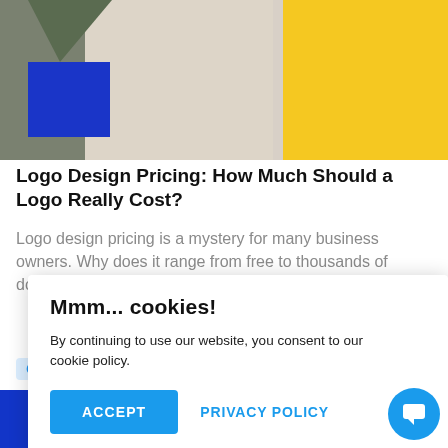[Figure (illustration): Abstract colorful hero banner with blue rectangle, beige/grey background, yellow right section, and geometric shapes]
Logo Design Pricing: How Much Should a Logo Really Cost?
Logo design pricing is a mystery for many business owners. Why does it range from free to thousands of dollars? How much should you pay? We're here to help!
Graphic design   🕐  12 minutes
Mmm... cookies!

By continuing to use our website, you consent to our cookie policy.

ACCEPT   PRIVACY POLICY